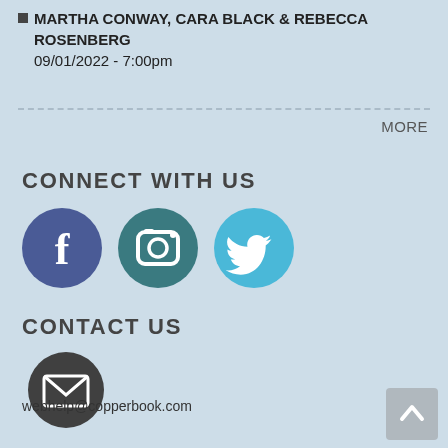MARTHA CONWAY, CARA BLACK & REBECCA ROSENBERG
09/01/2022 - 7:00pm
MORE
CONNECT WITH US
[Figure (illustration): Three social media icons: Facebook (dark blue circle with 'f'), Instagram (teal circle with camera icon), Twitter (light blue circle with bird icon)]
CONTACT US
[Figure (illustration): Dark gray circle with white envelope/mail icon]
webhelp@copperbook.com